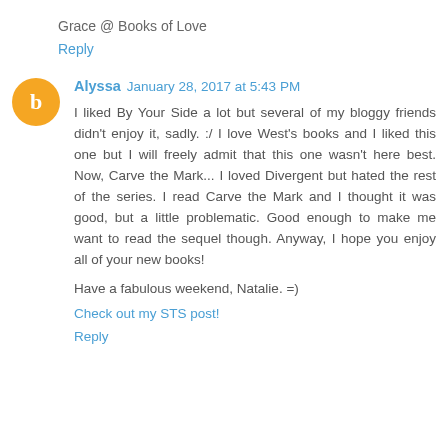Grace @ Books of Love
Reply
Alyssa  January 28, 2017 at 5:43 PM
I liked By Your Side a lot but several of my bloggy friends didn't enjoy it, sadly. :/ I love West's books and I liked this one but I will freely admit that this one wasn't here best. Now, Carve the Mark... I loved Divergent but hated the rest of the series. I read Carve the Mark and I thought it was good, but a little problematic. Good enough to make me want to read the sequel though. Anyway, I hope you enjoy all of your new books!
Have a fabulous weekend, Natalie. =)
Check out my STS post!
Reply